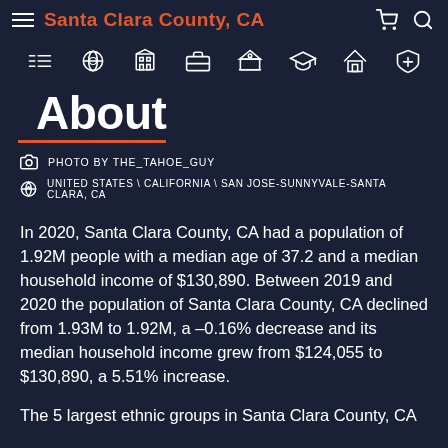Santa Clara County, CA
About
PHOTO BY THE_TAHOE_GUY
UNITED STATES \ CALIFORNIA \ SAN JOSE-SUNNYVALE-SANTA CLARA, CA
In 2020, Santa Clara County, CA had a population of 1.92M people with a median age of 37.2 and a median household income of $130,890. Between 2019 and 2020 the population of Santa Clara County, CA declined from 1.93M to 1.92M, a –0.16% decrease and its median household income grew from $124,055 to $130,890, a 5.51% increase.
The 5 largest ethnic groups in Santa Clara County, CA